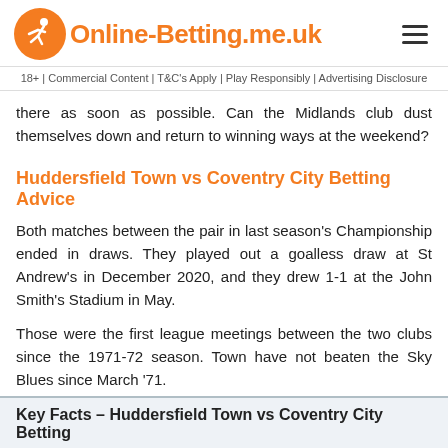Online-Betting.me.uk
18+ | Commercial Content | T&C's Apply | Play Responsibly | Advertising Disclosure
there as soon as possible. Can the Midlands club dust themselves down and return to winning ways at the weekend?
Huddersfield Town vs Coventry City Betting Advice
Both matches between the pair in last season's Championship ended in draws. They played out a goalless draw at St Andrew's in December 2020, and they drew 1-1 at the John Smith's Stadium in May.
Those were the first league meetings between the two clubs since the 1971-72 season. Town have not beaten the Sky Blues since March '71.
Key Facts – Huddersfield Town vs Coventry City Betting